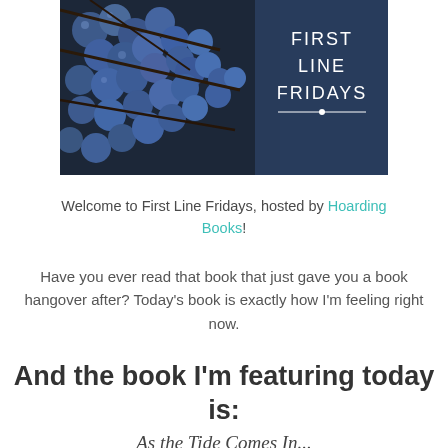[Figure (photo): Banner image showing blue berries on branches against a dark background, with 'FIRST LINE FRIDAYS' text overlay in white on the right side]
Welcome to First Line Fridays, hosted by Hoarding Books!
Have you ever read that book that just gave you a book hangover after? Today's book is exactly how I'm feeling right now.
And the book I'm featuring today is:
As the Tide Comes In...